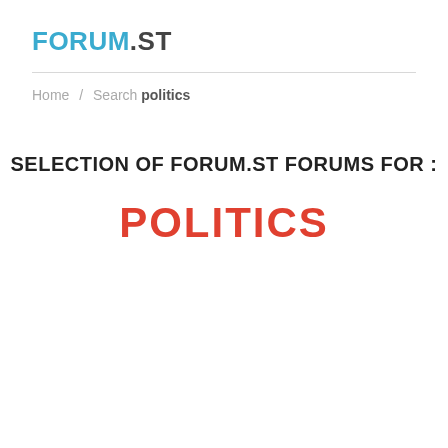FORUM.ST
Home / Search politics
SELECTION OF FORUM.ST FORUMS FOR :
POLITICS